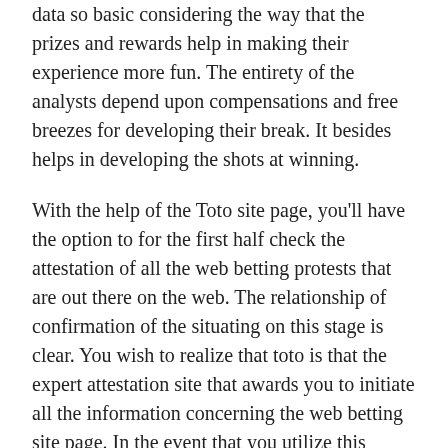data so basic considering the way that the prizes and rewards help in making their experience more fun. The entirety of the analysts depend upon compensations and free breezes for developing their break. It besides helps in developing the shots at winning.
With the help of the Toto site page, you'll have the option to for the first half check the attestation of all the web betting protests that are out there on the web. The relationship of confirmation of the situating on this stage is clear. You wish to realize that toto is that the expert attestation site that awards you to initiate all the information concerning the web betting site page. In the event that you utilize this stage, you can get the best outcomes for the check of the site.
Flourishing and security